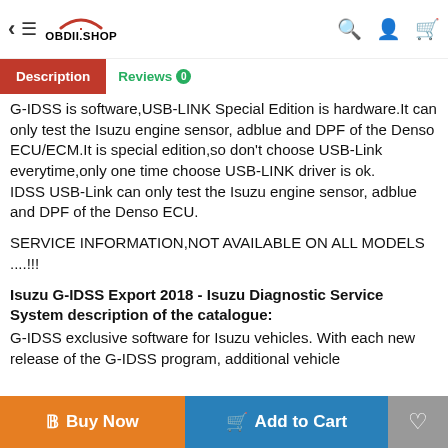OBDII.SHOP — Description | Reviews 0
G-IDSS is software,USB-LINK Special Edition is hardware.It can only test the Isuzu engine sensor, adblue and DPF of the Denso ECU/ECM.It is special edition,so don't choose USB-Link everytime,only one time choose USB-LINK driver is ok.
IDSS USB-Link can only test the Isuzu engine sensor, adblue and DPF of the Denso ECU.
SERVICE INFORMATION,NOT AVAILABLE ON ALL MODELS ....!!!
Isuzu G-IDSS Export 2018 - Isuzu Diagnostic Service System description of the catalogue:
G-IDSS exclusive software for Isuzu vehicles. With each new release of the G-IDSS program, additional vehicle